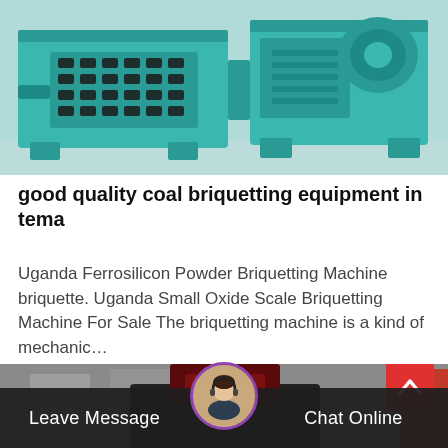[Figure (photo): Teal/turquoise industrial coal briquetting machine with rollers and frame, photographed in a workshop setting]
good quality coal briquetting equipment in tema
Uganda Ferrosilicon Powder Briquetting Machine briquette. Uganda Small Oxide Scale Briquetting Machine For Sale The briquetting machine is a kind of mechanic…
Release Time:03-09